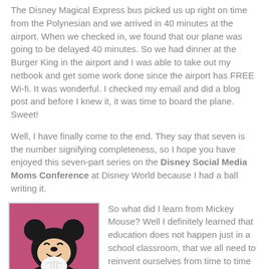The Disney Magical Express bus picked us up right on time from the Polynesian and we arrived in 40 minutes at the airport. When we checked in, we found that our plane was going to be delayed 40 minutes. So we had dinner at the Burger King in the airport and I was able to take out my netbook and get some work done since the airport has FREE Wi-fi. It was wonderful. I checked my email and did a blog post and before I knew it, it was time to board the plane. Sweet!
Well, I have finally come to the end. They say that seven is the number signifying completeness, so I hope you have enjoyed this seven-part series on the Disney Social Media Moms Conference at Disney World because I had a ball writing it.
[Figure (illustration): Mickey Mouse cartoon illustration with pink/magenta background, Mickey leaning chin on hand in a thoughtful pose]
So what did I learn from Mickey Mouse? Well I definitely learned that education does not happen just in a school classroom, that we all need to reinvent ourselves from time to time to keep up with the competition, and that we can learn, give back, and have fun all at the